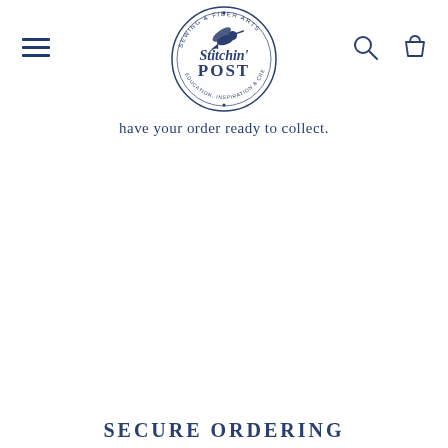[Figure (logo): Stitchin' Post circular logo with hummingbird, sewing and fiber arts text around the border]
have your order ready to collect.
SECURE ORDERING